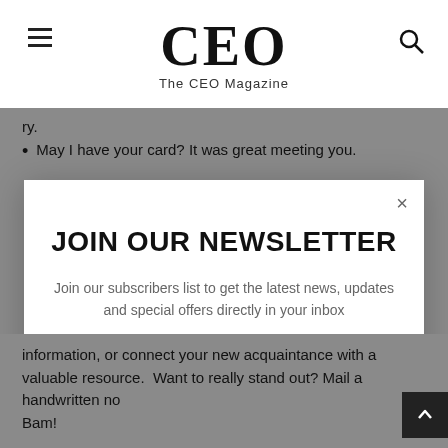The CEO Magazine
May I have your card? It was great meeting you.
JOIN OUR NEWSLETTER
Join our subscribers list to get the latest news, updates and special offers directly in your inbox
Email Address  Subscribe
No, thanks
information, or connect your new acquaintance with a valuable resource.  Want to really stand out? Mail a handwritten no Bam!